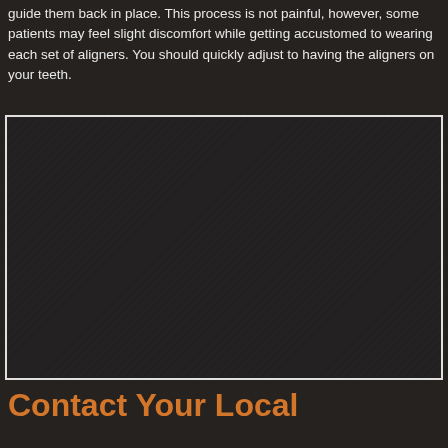guide them back in place. This process is not painful, however, some patients may feel slight discomfort while getting accustomed to wearing each set of aligners. You should quickly adjust to having the aligners on your teeth.
[Figure (photo): Dark textured image area with white border, likely showing a dental or clinical photo. Content is not clearly visible due to dark rendering.]
Contact Your Local